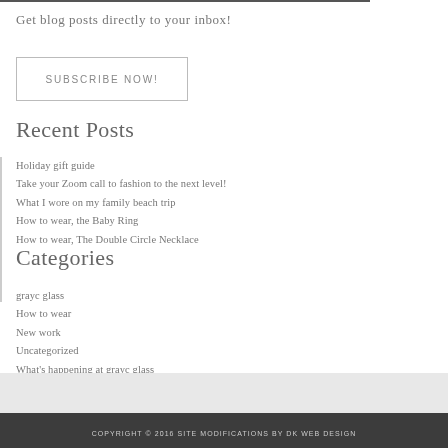Get blog posts directly to your inbox!
SUBSCRIBE NOW!
Recent Posts
Holiday gift guide
Take your Zoom call to fashion to the next level!
What I wore on my family beach trip
How to wear, the Baby Ring
How to wear, The Double Circle Necklace
Categories
grayc glass
How to wear
New work
Uncategorized
What's happening at grayc glass
COPYRIGHT © 2016 SITE MODIFICATIONS BY DK WEB DESIGN